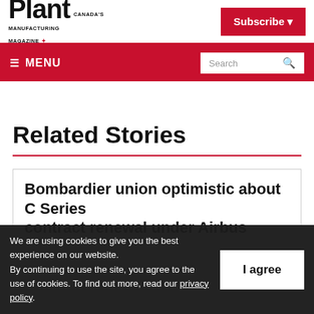Plant Canada's Manufacturing Magazine — Subscribe
≡ MENU  Search
Related Stories
Bombardier union optimistic about C Series contract renewal under Airbus
We are using cookies to give you the best experience on our website. By continuing to use the site, you agree to the use of cookies. To find out more, read our privacy policy.